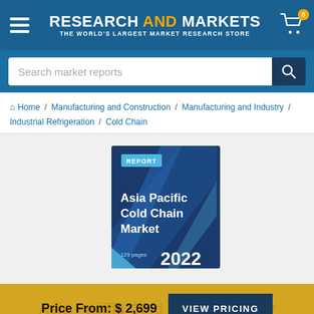RESEARCH AND MARKETS — THE WORLD'S LARGEST MARKET RESEARCH STORE
Search market reports
Home / Manufacturing and Construction / Manufacturing and Industry / Industrial Refrigeration / Cold Chain
[Figure (illustration): Book cover for Asia Pacific Cold Chain Market report, 2022, 129 pages, published by Research and Markets]
Price From: $ 2,699   VIEW PRICING